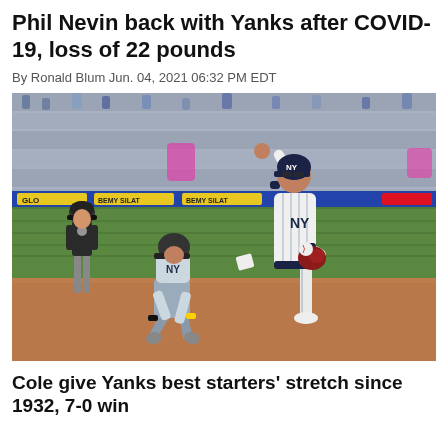Phil Nevin back with Yanks after COVID-19, loss of 22 pounds
By Ronald Blum Jun. 04, 2021 06:32 PM EDT
[Figure (photo): Baseball game scene: A Yankees infielder in white pinstripe uniform with right fist raised and left leg kicked up stands over a sliding baserunner who is on hands and knees on the infield dirt. An umpire in black shirt and gray pants looks on in the background. Stadium seats with fans are visible behind them.]
Cole give Yanks best starters' stretch since 1932, 7-0 win